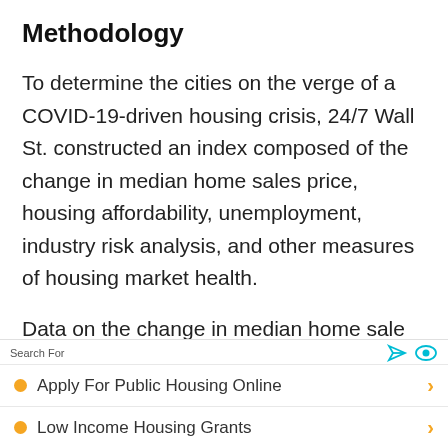Methodology
To determine the cities on the verge of a COVID-19-driven housing crisis, 24/7 Wall St. constructed an index composed of the change in median home sales price, housing affordability, unemployment, industry risk analysis, and other measures of housing market health.
Data on the change in median home sale price from Q1 2010 to Q1 2020 came from
Search For
Apply For Public Housing Online
Low Income Housing Grants